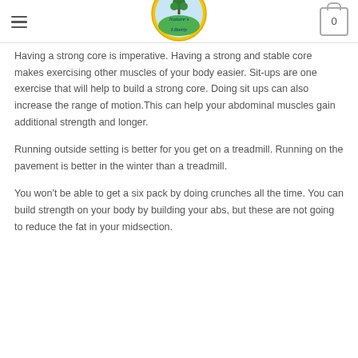Nature's Liberty
Having a strong core is imperative. Having a strong and stable core makes exercising other muscles of your body easier. Sit-ups are one exercise that will help to build a strong core. Doing sit ups can also increase the range of motion.This can help your abdominal muscles gain additional strength and longer.
Running outside setting is better for you get on a treadmill. Running on the pavement is better in the winter than a treadmill.
You won't be able to get a six pack by doing crunches all the time. You can build strength on your body by building your abs, but these are not going to reduce the fat in your midsection.